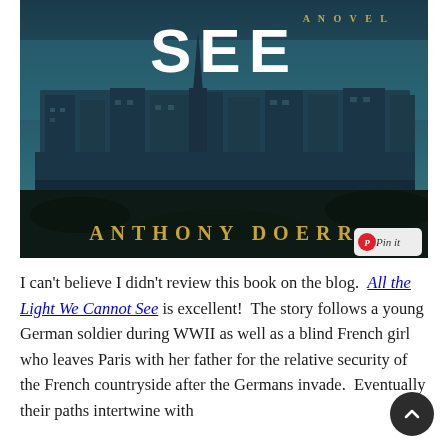[Figure (illustration): Book cover of 'All the Light We Cannot See' by Anthony Doerr. Dark teal/blue aerial photograph of a walled coastal French city (Saint-Malo) with a church spire. White text 'SEE' large in center, 'A NOVEL' top right, 'ANTHONY DOERR' in gold letters at bottom. 'Pin it' button overlay at bottom right.]
I can't believe I didn't review this book on the blog. All the Light We Cannot See is excellent! The story follows a young German soldier during WWII as well as a blind French girl who leaves Paris with her father for the relative security of the French countryside after the Germans invade. Eventually their paths intertwine with